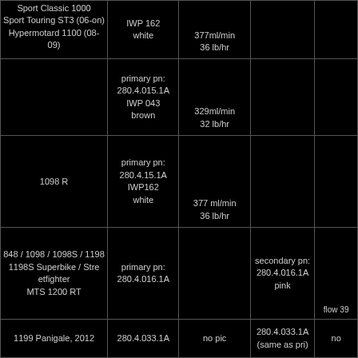| Model | Primary PN | Flow / Pic | Secondary PN | Notes |
| --- | --- | --- | --- | --- |
| Sport Classic 1000
Sport Touring ST3 (06-on)
Hypermotard 1100 (08-09) | IWP 162
white | 377ml/min
36 lb/hr |  |  |
|  | primary pn:
280.4.015.1A
IWP 043
brown | 329ml/min
32 lb/hr |  |  |
| 1098 R | primary pn:
280.4.15.1A
IWP162
white | 377 ml/min
36 lb/hr |  |  |
| 848 / 1098 / 1098S / 1198
1198S Superbike / Stre
etfighter
MTS 1200 RT | primary pn:
280.4.016.1A |  | secondary pn:
280.4.016.1A
pink | flow 39 |
| 1199 Panigale, 2012 | 280.4.033.1A | no pic | 280.4.033.1A
(same as pri) | no |